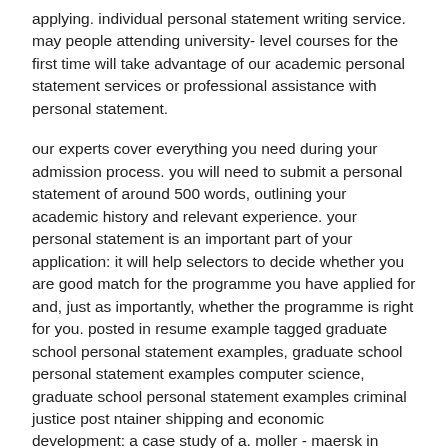applying. individual personal statement writing service. may people attending university- level courses for the first time will take advantage of our academic personal statement services or professional assistance with personal statement.
our experts cover everything you need during your admission process. you will need to submit a personal statement of around 500 words, outlining your academic history and relevant experience. your personal statement is an important part of your application: it will help selectors to decide whether you are good match for the programme you have applied for and, just as importantly, whether the programme is right for you. posted in resume example tagged graduate school personal statement examples, graduate school personal statement examples computer science, graduate school personal statement examples criminal justice post ntainer shipping and economic development: a case study of a. moller - maersk in south east asia | majbritt greve, michael w. hansen, henrik schaumburg- muller | isbn: | kostenloser versand für alle bücher mit versand und verkauf duch amazon.